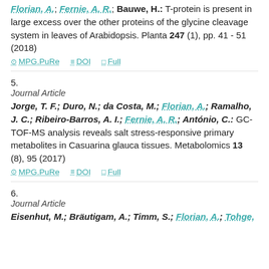Timm, S.; Giese, J.; Engel, N.; Wittmiß, M.; Florian, A.; Fernie, A. R.; Bauwe, H.: T-protein is present in large excess over the other proteins of the glycine cleavage system in leaves of Arabidopsis. Planta 247 (1), pp. 41 - 51 (2018)
MPG.PuRe  DOI  Full
5.
Journal Article
Jorge, T. F.; Duro, N.; da Costa, M.; Florian, A.; Ramalho, J. C.; Ribeiro-Barros, A. I.; Fernie, A. R.; António, C.: GC-TOF-MS analysis reveals salt stress-responsive primary metabolites in Casuarina glauca tissues. Metabolomics 13 (8), 95 (2017)
MPG.PuRe  DOI  Full
6.
Journal Article
Eisenhut, M.; Bräutigam, A.; Timm, S.; Florian, A.; Tohge,